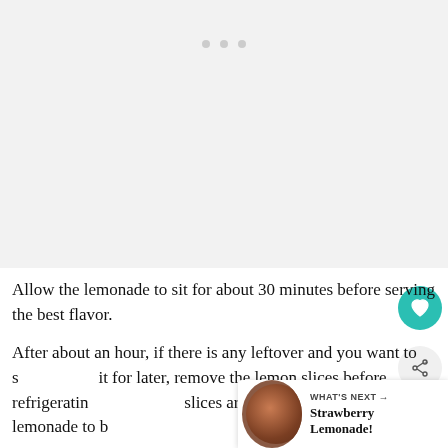[Figure (photo): Large image area (photo placeholder) with light gray background and three gray dot indicators at top]
Allow the lemonade to sit for about 30 minutes before serving the best flavor.
After about an hour, if there is any leftover and you want to save it for later, remove the lemon slices before refrigerating. If the slices are left in they will cause the lemonade to be
[Figure (infographic): What's Next card: thumbnail photo with text 'WHAT'S NEXT → Strawberry Lemonade!']